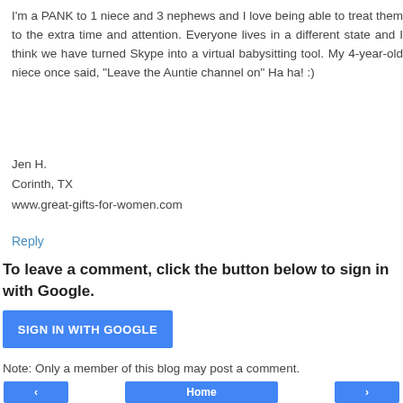I'm a PANK to 1 niece and 3 nephews and I love being able to treat them to the extra time and attention. Everyone lives in a different state and I think we have turned Skype into a virtual babysitting tool. My 4-year-old niece once said, "Leave the Auntie channel on" Ha ha! :)
Jen H.
Corinth, TX
www.great-gifts-for-women.com
Reply
To leave a comment, click the button below to sign in with Google.
SIGN IN WITH GOOGLE
Note: Only a member of this blog may post a comment.